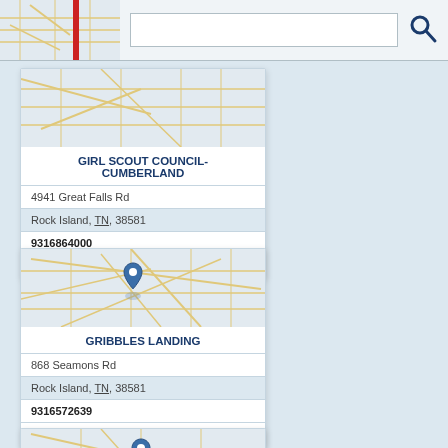[Figure (screenshot): Search bar UI with map thumbnail on left, red vertical bar, white text input field, and dark blue magnifying glass search icon]
[Figure (map): Small road map thumbnail for Girl Scout Council-Cumberland location]
GIRL SCOUT COUNCIL-CUMBERLAND
4941 Great Falls Rd
Rock Island, TN, 38581
9316864000
Community Center
[Figure (map): Small road map thumbnail for Gribbles Landing location with blue location pin marker]
GRIBBLES LANDING
868 Seamons Rd
Rock Island, TN, 38581
9316572639
The Mill
[Figure (map): Partial small road map thumbnail at bottom of page]